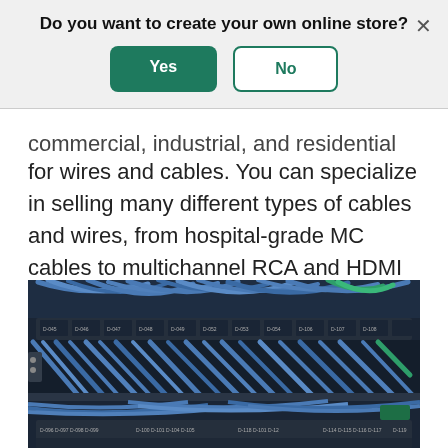Do you want to create your own online store?
Yes
No
commercial, industrial, and residential sectors for wires and cables. You can specialize in selling many different types of cables and wires, from hospital-grade MC cables to multichannel RCA and HDMI cables.
[Figure (photo): Network patch panel with many blue ethernet cables and some green cables neatly organized in a server rack, showing labeled ports and cable management.]